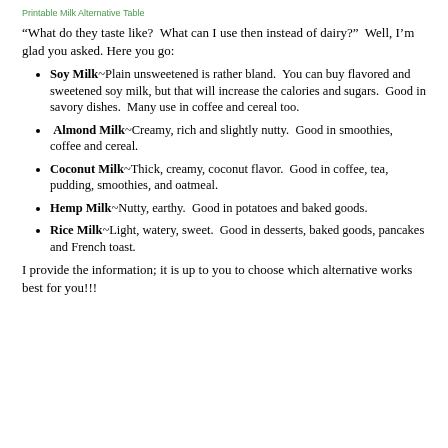Printable Milk Alternative Table
“What do they taste like?  What can I use then instead of dairy?”  Well, I’m glad you asked. Here you go:
Soy Milk~Plain unsweetened is rather bland.  You can buy flavored and sweetened soy milk, but that will increase the calories and sugars.  Good in savory dishes.  Many use in coffee and cereal too.
Almond Milk~Creamy, rich and slightly nutty.  Good in smoothies, coffee and cereal.
Coconut Milk~Thick, creamy, coconut flavor.  Good in coffee, tea, pudding, smoothies, and oatmeal.
Hemp Milk~Nutty, earthy.  Good in potatoes and baked goods.
Rice Milk~Light, watery, sweet.  Good in desserts, baked goods, pancakes and French toast.
I provide the information; it is up to you to choose which alternative works best for you!!!